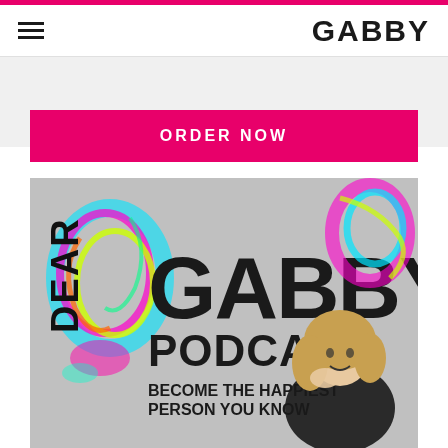GABBY
[Figure (other): ORDER NOW button - pink/magenta banner with white bold text]
[Figure (illustration): Dear Gabby Podcast cover art - gray background with bold 'DEAR GABBY PODCAST' text, subtitle 'BECOME THE HAPPIEST PERSON YOU KNOW', woman with blonde hair in black outfit, colorful holographic splatter accents]